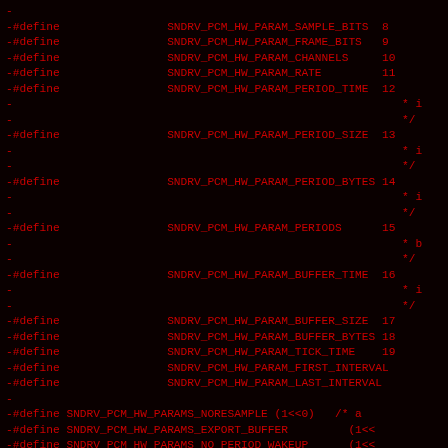Code listing showing C preprocessor #define macros for SNDRV_PCM_HW_PARAM constants numbered 8-19, plus NORESAMPLE, EXPORT_BUFFER, NO_PERIOD_WAKEUP flags